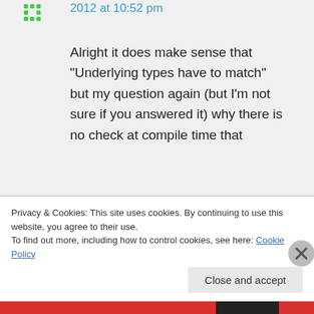2012 at 10:52 pm
Alright it does make sense that “Underlying types have to match” but my question again (but I’m not sure if you answered it) why there is no check at compile time that
Privacy & Cookies: This site uses cookies. By continuing to use this website, you agree to their use.
To find out more, including how to control cookies, see here: Cookie Policy
Close and accept